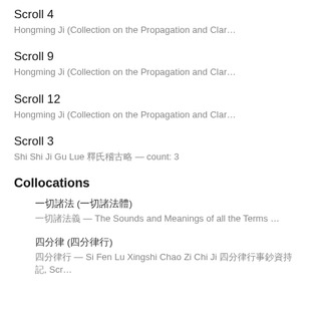Scroll 4
Hongming Ji (Collection on the Propagation and Clar...
Scroll 9
Hongming Ji (Collection on the Propagation and Clar...
Scroll 12
Hongming Ji (Collection on the Propagation and Clar...
Scroll 3
Shi Shi Ji Gu Lue 釋氏稽古略 — count: 3
Collocations
一切諸法 (一切諸法體)
一切諸法義 — The Sounds and Meanings of all the Terms ...
四分律 (四分律行)
四分律行 — Si Fen Lu Xingshi Chao Zi Chi Ji 四分律行事鈔資持記, Scr...